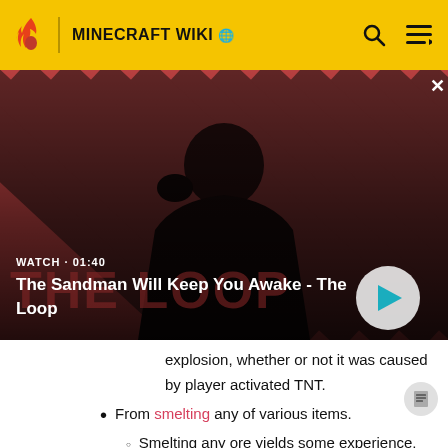MINECRAFT WIKI
[Figure (screenshot): Video thumbnail for 'The Sandman Will Keep You Awake - The Loop' showing a dark figure in black cape with a raven on shoulder against a red and dark diagonal striped background. Shows WATCH • 01:40 label and a play button.]
explosion, whether or not it was caused by player activated TNT.
From smelting any of various items.
Smelting any ore yields some experience, but normally only iron and gold are worthwhile. For all